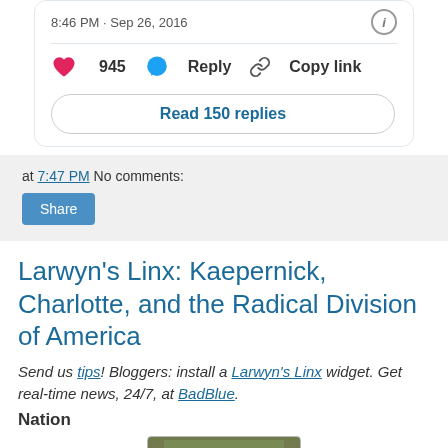[Figure (screenshot): Tweet card showing timestamp 8:46 PM Sep 26 2016, with heart/like (945), reply, and copy link actions, and a Read 150 replies button]
at 7:47 PM  No comments:
[Figure (screenshot): Share button in blog post metadata area]
Larwyn's Linx: Kaepernick, Charlotte, and the Radical Division of America
Send us tips! Bloggers: install a Larwyn's Linx widget. Get real-time news, 24/7, at BadBlue.
Nation
[Figure (photo): Partial image of a person on ground, partially visible at bottom of page]